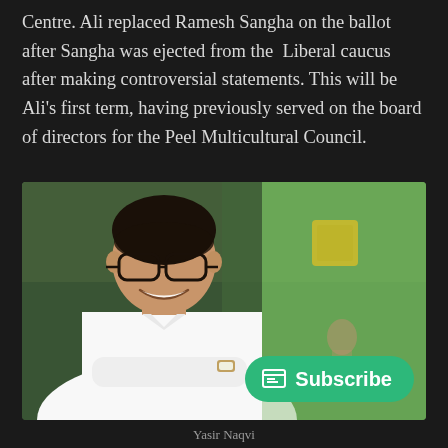Centre. Ali replaced Ramesh Sangha on the ballot after Sangha was ejected from the Liberal caucus after making controversial statements. This will be Ali's first term, having previously served on the board of directors for the Peel Multicultural Council.
[Figure (photo): Professional photo of Yasir Naqvi, a man with dark hair and glasses wearing a white shirt with arms crossed, smiling, with a blurred green outdoor background and a yellow sign visible. A green Subscribe button overlay appears in the bottom right.]
Yasir Naqvi